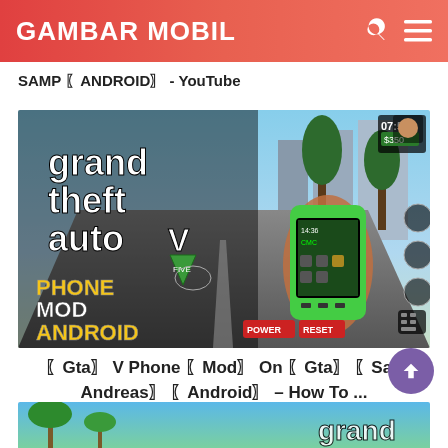GAMBAR MOBIL
SAMP 〖ANDROID〗 - YouTube
[Figure (screenshot): GTA V Phone Mod Android YouTube thumbnail showing Grand Theft Auto V logo with 'PHONE MOD ANDROID' text overlay, a hand holding a green Android phone with GTA-style UI, game HUD elements including time 07:51 and $350, POWER and RESET buttons at bottom]
〖Gta〗 V Phone 〖Mod〗 On 〖Gta〗 〖San Andreas〗 〖Android〗 – How To ...
[Figure (screenshot): Partial screenshot of GTA San Andreas with tropical/beach background showing palm trees, partially visible Grand Theft Auto logo at bottom right]